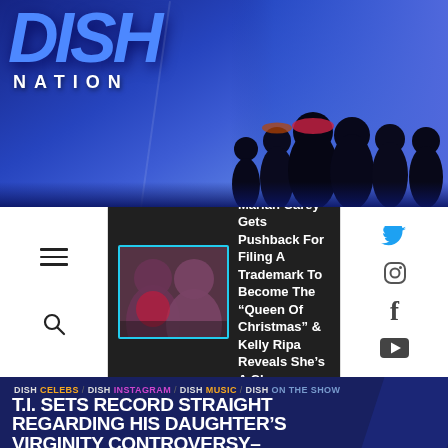[Figure (screenshot): Dish Nation website screenshot showing logo, cast photo, navigation bar with Mariah Carey headline thumbnail, breadcrumb navigation, article title, social share buttons, and date bar]
DISH NATION
Tonight: Mariah Carey Gets Pushback For Filing A Trademark To Become The "Queen Of Christmas" & Kelly Ripa Reveals She's A Cheap Bride!
DISH CELEBS / DISH INSTAGRAM / DISH MUSIC / DISH ON THE SHOW
T.I. SETS RECORD STRAIGHT REGARDING HIS DAUGHTER'S VIRGINITY CONTROVERSY– SAYS HIS COMMENTS WERE 'TERRIBLY MISCONSTRUED'
Tuesday, Nov 26, 2019